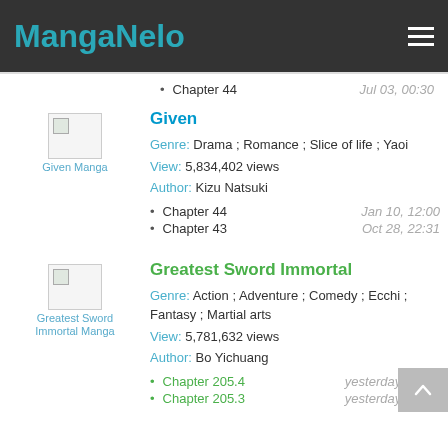MangaNelo
Chapter 44 — Jul 03, 00:30
[Figure (illustration): Given Manga thumbnail image placeholder]
Given
Genre: Drama ; Romance ; Slice of life ; Yaoi
View: 5,834,402 views
Author: Kizu Natsuki
Chapter 44 — Jan 10, 12:00
Chapter 43 — Oct 28, 22:31
[Figure (illustration): Greatest Sword Immortal Manga thumbnail image placeholder]
Greatest Sword Immortal
Genre: Action ; Adventure ; Comedy ; Ecchi ; Fantasy ; Martial arts
View: 5,781,632 views
Author: Bo Yichuang
Chapter 205.4 — yesterday, 15:17
Chapter 205.3 — yesterday, 13:00